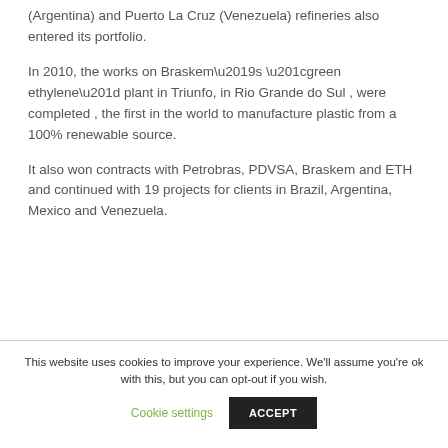(Argentina) and Puerto La Cruz (Venezuela) refineries also entered its portfolio.
In 2010, the works on Braskem’s “green ethylene” plant in Triunfo, in Rio Grande do Sul , were completed , the first in the world to manufacture plastic from a 100% renewable source.
It also won contracts with Petrobras, PDVSA, Braskem and ETH and continued with 19 projects for clients in Brazil, Argentina, Mexico and Venezuela.
This website uses cookies to improve your experience. We’ll assume you’re ok with this, but you can opt-out if you wish.
Cookie settings
ACCEPT